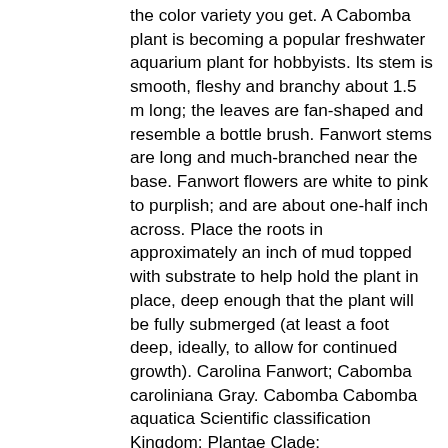the color variety you get. A Cabomba plant is becoming a popular freshwater aquarium plant for hobbyists. Its stem is smooth, fleshy and branchy about 1.5 m long; the leaves are fan-shaped and resemble a bottle brush. Fanwort stems are long and much-branched near the base. Fanwort flowers are white to pink to purplish; and are about one-half inch across. Place the roots in approximately an inch of mud topped with substrate to help hold the plant in place, deep enough that the plant will be fully submerged (at least a foot deep, ideally, to allow for continued growth). Carolina Fanwort; Cabomba caroliniana Gray. Cabomba Cabomba aquatica Scientific classification Kingdom: Plantae Clade: Tracheophytes Clade: Angiosperms Order: Nymphaeales Family: Cabombaceae Genus: Cabomba Aubl. (And How to Fix it). Cabomba caroliniana Gray, fanwort: Family: Cobombaceae: Fanwort has fan-shaped, deep green or reddish, delicately divided, opposite underwater leaves. Some fish and waterfowl may directly feed on the tender leaves. It can grow in water 3-10 ft. (0.9-3 m) deep with stems up to 6.5 ft. (2 m) long. In